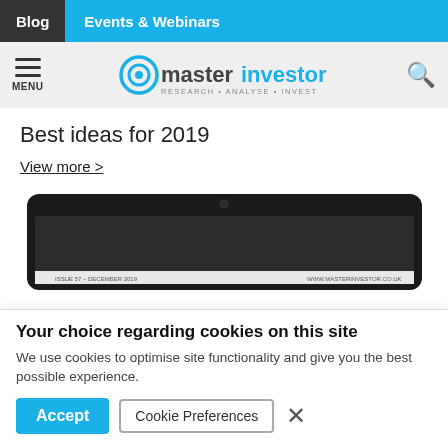Blog  Events & Webinars
[Figure (logo): Master Investor logo with tagline RESEARCH • ANALYSE • INVEST and hamburger menu icon]
Best ideas for 2019
View more >
[Figure (photo): Tablet/smartphone device showing Master Investor magazine Issue 57 – December 2019, www.masterinvestor.co.uk]
Your choice regarding cookies on this site
We use cookies to optimise site functionality and give you the best possible experience.
Accept  Cookie Preferences  ×